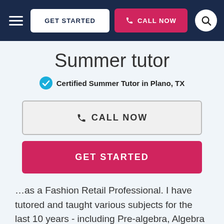GET STARTED  CALL NOW
Summer tutor
Certified Summer Tutor in Plano, TX
CALL NOW
GET STARTED
…as a Fashion Retail Professional. I have tutored and taught various subjects for the last 10 years - including Pre-algebra, Algebra 1/2/3/4, Reading, French, and Science. As an athlete for the last 20 years, including my time at Columbia as a Division I student-athlete, supporting my